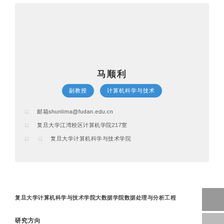马顺利
副教授  计算机科学与技术
邮箱  shunlima@fudan.edu.cn
地址  复旦大学江湾校区计算机学院217室
主页  复旦大学计算机科学与技术学院
复旦大学计算机科学与技术学院大数据学院数据处理与分析工程
研究方向